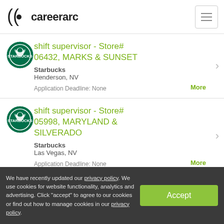careerarc
shift supervisor - Store# 06432, MARKS & SUNSET
Starbucks
Henderson, NV
Application Deadline: None
More
shift supervisor - Store# 05998, MARYLAND & SILVERADO
Starbucks
Las Vegas, NV
Application Deadline: None
More
We have recently updated our privacy policy. We use cookies for website functionality, analytics and advertising. Click "accept" to agree to our cookies or find out how to manage cookies in our privacy policy.